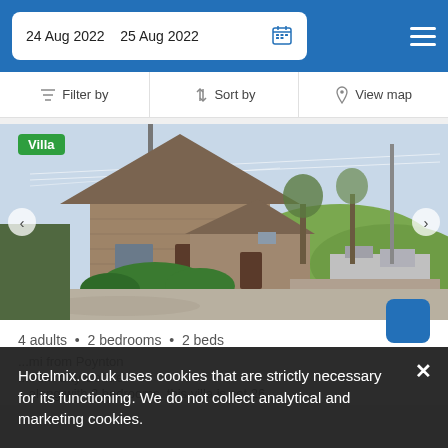24 Aug 2022   25 Aug 2022
Filter by | Sort by | View map
Villa
[Figure (photo): Stone cottage villa with rustic exterior, green bushes, rural countryside background with trees and hills, overcast sky.]
4 adults  •  2 bedrooms  •  2 beds
...mi from Poynton
...from City Centre
...along with 2 bedrooms, this villa is set 26...
Hotelmix.co.uk uses cookies that are strictly necessary for its functioning. We do not collect analytical and marketing cookies.